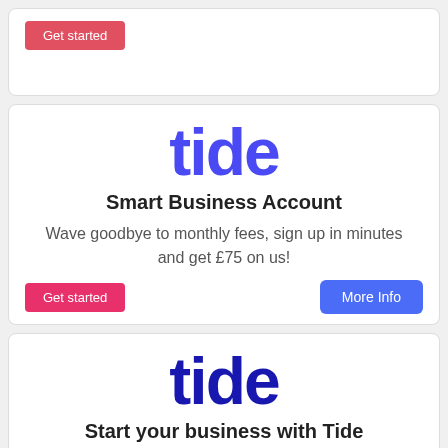[Figure (other): Partial top card with red Get started button]
[Figure (logo): Tide logo in blue/purple]
Smart Business Account
Wave goodbye to monthly fees, sign up in minutes and get £75 on us!
Get started
More Info
[Figure (logo): Tide logo in dark blue]
Start your business with Tide
Get off to the best start with £75 in your new account